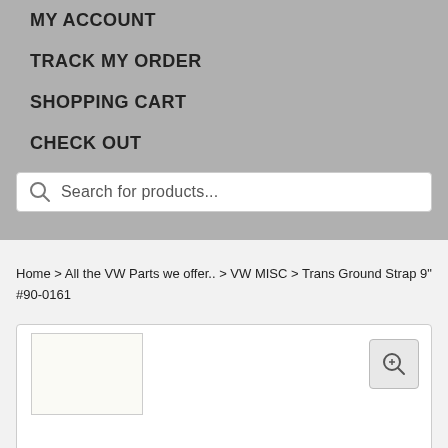MY ACCOUNT
TRACK MY ORDER
SHOPPING CART
CHECK OUT
Search for products...
Home > All the VW Parts we offer.. > VW MISC > Trans Ground Strap 9" #90-0161
[Figure (screenshot): Product image placeholder with zoom icon button in top right corner]